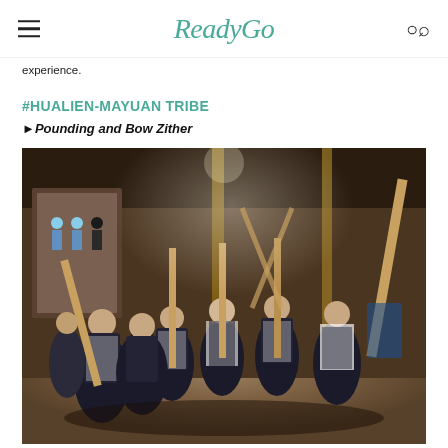ReadyGo
experience.
#HUALIEN-MAYUAN TRIBE
▶Pounding and Bow Zither
[Figure (photo): Group of indigenous people in traditional black and white vests standing in a circle inside a wooden hall, each holding large wooden poles or pestles, performing a traditional pounding ceremony. Decorative tapestry visible on the wall in the background.]